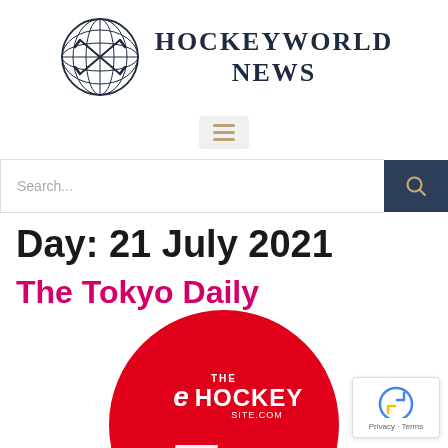[Figure (logo): HockeyWorld News logo: globe with crossed hockey sticks and site name to its right]
[Figure (other): Hamburger menu icon (three horizontal lines) in a light grey rounded rectangle]
[Figure (other): Search bar with placeholder text 'Search...' and a dark blue search button with magnifying glass icon]
Day: 21 July 2021
The Tokyo Daily
[Figure (photo): Red circle with The Hockey Site logo and partial white text, cropped at bottom of page]
[Figure (other): reCAPTCHA widget badge in bottom right corner showing Privacy - Terms]